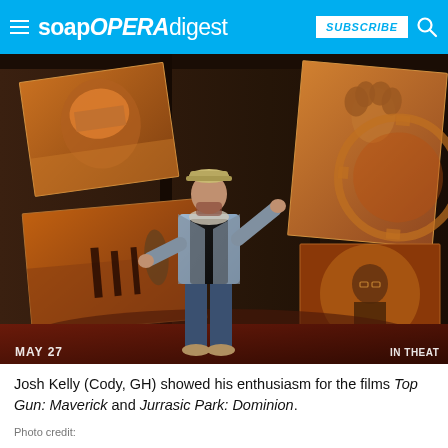soap OPERA digest — SUBSCRIBE [search]
[Figure (photo): Josh Kelly standing in front of movie poster displays for Top Gun: Maverick and Jurassic Park: Dominion at a movie theater. He is wearing a black graphic t-shirt, a denim jacket, jeans, and a cap. He is gesturing toward the posters. Text at bottom left reads 'MAY 27' and bottom right reads 'IN THEAT'.]
Josh Kelly (Cody, GH) showed his enthusiasm for the films Top Gun: Maverick and Jurrasic Park: Dominion.
Photo credit line (partial)